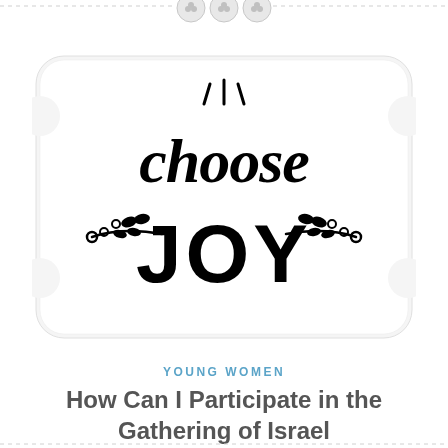[Figure (illustration): A rounded rectangle card with 'choose joy' written in decorative script and block lettering, with floral/leaf branch decorations on the sides and radiating lines above, all in black on white background]
YOUNG WOMEN
How Can I Participate in the Gathering of Israel